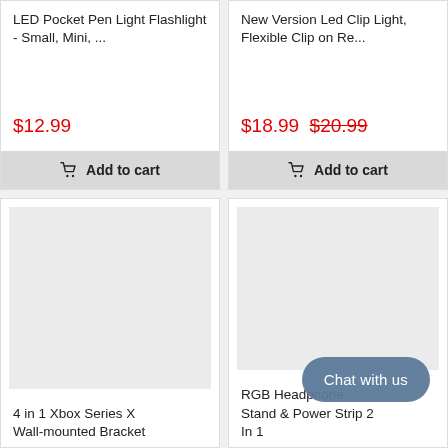LED Pocket Pen Light Flashlight - Small, Mini, ...
$12.99
Add to cart
New Version Led Clip Light, Flexible Clip on Re...
$18.99 $20.99
Add to cart
[Figure (photo): Product image placeholder (gray box) for 4 in 1 Xbox Series X Wall-mounted Bracket]
4 in 1 Xbox Series X Wall-mounted Bracket
[Figure (photo): Product image placeholder (gray box) for RGB Headphone Stand & Power Strip 2 In 1]
RGB Headphone Stand & Power Strip 2 In 1
Chat with us